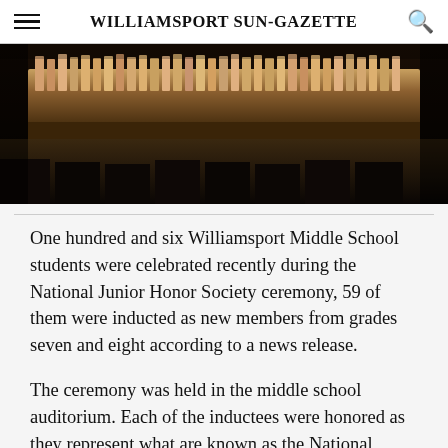WILLIAMSPORT SUN-GAZETTE
[Figure (photo): Students standing on a stage in a school auditorium during a National Junior Honor Society ceremony, viewed from the audience. The stage has a dark wooden floor and dim lighting.]
One hundred and six Williamsport Middle School students were celebrated recently during the National Junior Honor Society ceremony, 59 of them were inducted as new members from grades seven and eight according to a news release.
The ceremony was held in the middle school auditorium. Each of the inductees were honored as they represent what are known as the National Junior